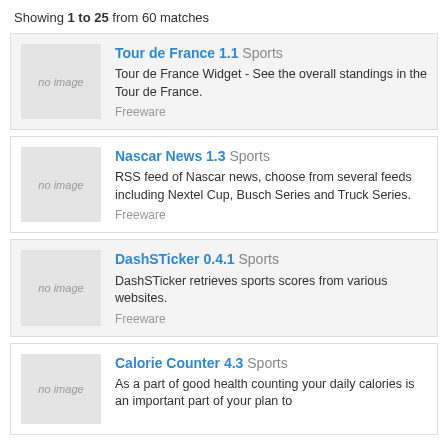Showing 1 to 25 from 60 matches
Tour de France 1.1 Sports — Tour de France Widget - See the overall standings in the Tour de France. Freeware
Nascar News 1.3 Sports — RSS feed of Nascar news, choose from several feeds including Nextel Cup, Busch Series and Truck Series. Freeware
DashSTicker 0.4.1 Sports — DashSTicker retrieves sports scores from various websites. Freeware
Calorie Counter 4.3 Sports — As a part of good health counting your daily calories is an important part of your plan to